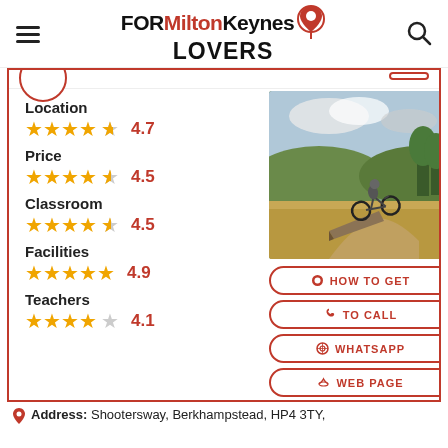FOR Milton Keynes LOVERS
Location  ★★★★½  4.7
Price  ★★★★½  4.5
Classroom  ★★★★½  4.5
Facilities  ★★★★★  4.9
Teachers  ★★★★☆  4.1
[Figure (photo): Motocross rider on a dirt bike jumping a ramp at an outdoor off-road track with green fields and trees in background]
HOW TO GET
TO CALL
WHATSAPP
WEB PAGE
Address: Shootersway, Berkhampstead, HP4 3TY,